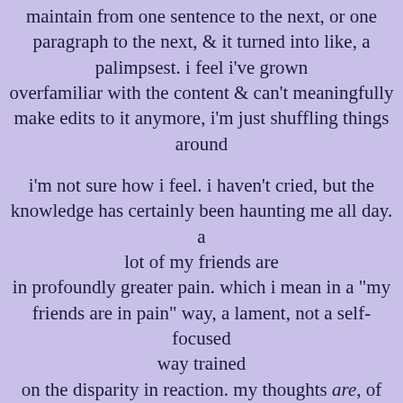maintain from one sentence to the next, or one paragraph to the next, & it turned into like, a palimpsest. i feel i've grown overfamiliar with the content & can't meaningfully make edits to it anymore, i'm just shuffling things around
i'm not sure how i feel. i haven't cried, but the knowledge has certainly been haunting me all day. a lot of my friends are in profoundly greater pain. which i mean in a "my friends are in pain" way, a lament, not a self-focused way trained on the disparity in reaction. my thoughts are, of course, hovering around that "disparity" stuff. my head tells me that because people i know are vocally in a state of intense grief, that i should be too
i don't want to feel like i am focusing on myself, but ultimately it is probably reasonable to take time to analyze my